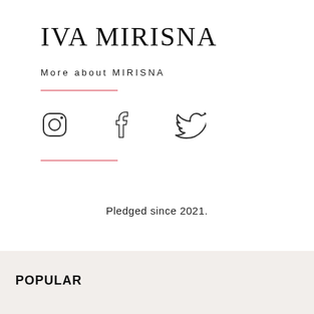IVA MIRISNA
More about MIRISNA
[Figure (illustration): Three social media icons: Instagram, Facebook, Twitter]
Pledged since 2021.
POPULAR